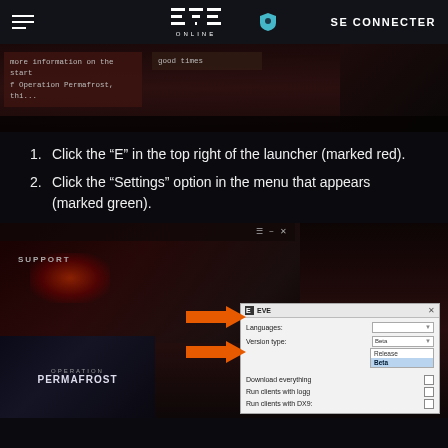EVE Online — SE CONNECTER
[Figure (screenshot): EVE Online launcher screenshot strip showing news cards with text 'more information on the start of Operation Permafrost, thi...' and 'good times']
1. Click the “E” in the top right of the launcher (marked red).
2. Click the “Settings” option in the menu that appears (marked green).
[Figure (screenshot): EVE Online launcher screenshot showing SUPPORT label, Operation Permafrost card, and EVE settings dialog with Language, Version type (Beta selected from dropdown showing Release/Beta), Download everything, Run clients with logging, Run clients with DX9 options. Orange arrow pointing to Beta selection.]